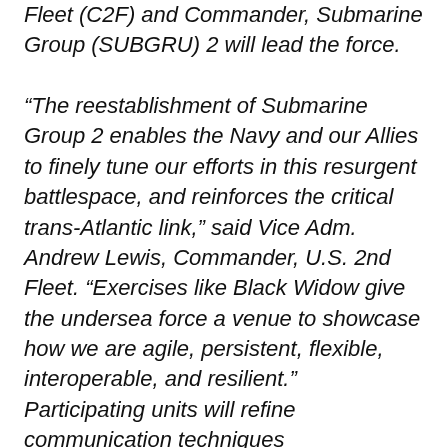Fleet (C2F) and Commander, Submarine Group (SUBGRU) 2 will lead the force.

“The reestablishment of Submarine Group 2 enables the Navy and our Allies to finely tune our efforts in this resurgent battlespace, and reinforces the critical trans-Atlantic link,” said Vice Adm. Andrew Lewis, Commander, U.S. 2nd Fleet. “Exercises like Black Widow give the undersea force a venue to showcase how we are agile, persistent, flexible, interoperable, and resilient.”
Participating units will refine communication techniques